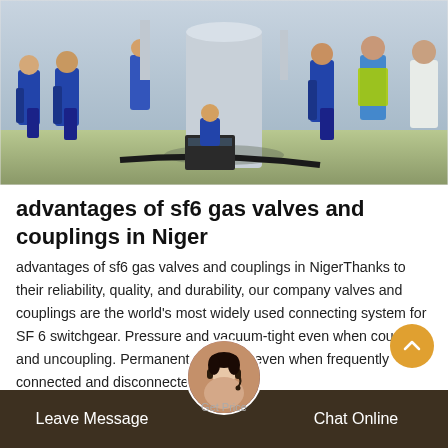[Figure (photo): Workers in blue uniforms and safety vests standing around industrial gas equipment outdoors at a worksite]
advantages of sf6 gas valves and couplings in Niger
advantages of sf6 gas valves and couplings in NigerThanks to their reliability, quality, and durability, our company valves and couplings are the world's most widely used connecting system for SF 6 switchgear. Pressure and vacuum-tight even when coupling and uncoupling. Permanent tightness even when frequently connected and disconnected.
Leave Message   Get Price   Chat Online